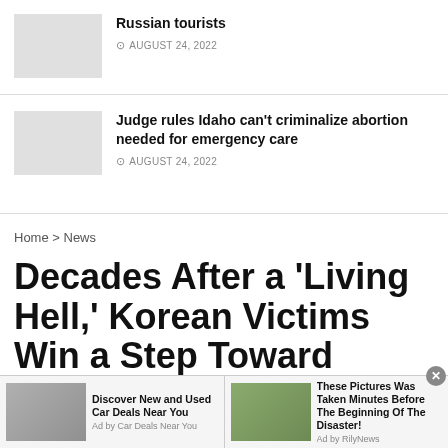[Figure (photo): Thumbnail image placeholder (gray box) for Russian tourists article]
Russian tourists
AUGUST 24, 2022
[Figure (photo): Thumbnail image placeholder (gray box) for Idaho abortion article]
Judge rules Idaho can't criminalize abortion needed for emergency care
AUGUST 24, 2022
Home > News
Decades After a ‘Living Hell,’ Korean Victims Win a Step Toward Redress
[Figure (photo): Ad: silver SUV on dirt road — Discover New and Used Car Deals Near You]
Discover New and Used Car Deals Near You
Ad by Car Deals Near You
[Figure (photo): Ad: SUV on flooded road — These Pictures Was Taken Minutes Before The Beginning Of The Disaster!]
These Pictures Was Taken Minutes Before The Beginning Of The Disaster!
Ad by RilyNews